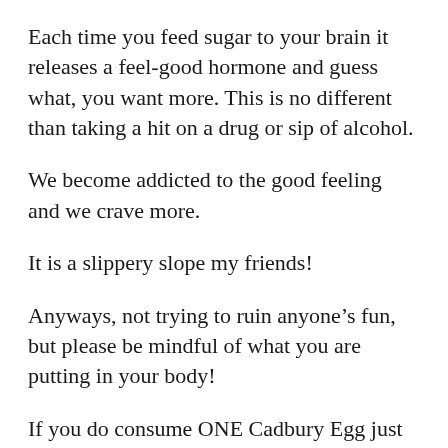Each time you feed sugar to your brain it releases a feel-good hormone and guess what, you want more. This is no different than taking a hit on a drug or sip of alcohol.
We become addicted to the good feeling and we crave more.
It is a slippery slope my friends!
Anyways, not trying to ruin anyone's fun, but please be mindful of what you are putting in your body!
If you do consume ONE Cadbury Egg just know you can do Burpees for 20-30 minutes straight